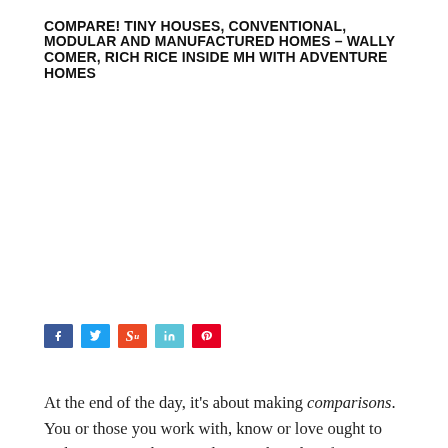COMPARE! TINY HOUSES, CONVENTIONAL, MODULAR AND MANUFACTURED HOMES – WALLY COMER, RICH RICE INSIDE MH WITH ADVENTURE HOMES
[Figure (other): Social share buttons: Facebook, Twitter, StumbleUpon, LinkedIn, Pinterest]
At the end of the day, it's about making comparisons.  You or those you work with, know or love ought to make your next housing decision based on facts, not opinions.
You ought to take the same kind of time to truly understand that next housing choice as you would to decide which doctor you want to do surgery on someone you care about.  Videos help!  But so does going to see and touch that new model homes at a good retailer or community.
[Figure (screenshot): Dark banner bar reading: MHLivingNews.com.RoadShow.AdventureHomes.Pa...]